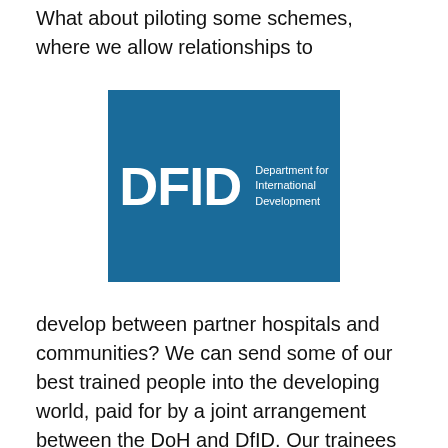What about piloting some schemes, where we allow relationships to
[Figure (logo): DFID – Department for International Development logo. Blue square background with large white bold letters 'DFID' on the left and smaller text 'Department for International Development' on the right.]
develop between partner hospitals and communities? We can send some of our best trained people into the developing world, paid for by a joint arrangement between the DoH and DfID. Our trainees would get some of the best experience, with on the job training available and return with richer and more diverse skills. They would build friendships and receive as much as they would give, learning about communication skills in difficult